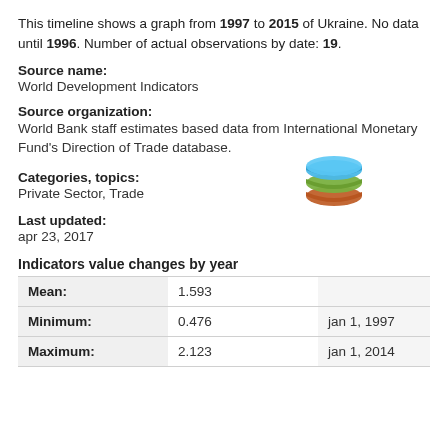This timeline shows a graph from 1997 to 2015 of Ukraine. No data until 1996. Number of actual observations by date: 19.
Source name:
World Development Indicators
Source organization:
World Bank staff estimates based data from International Monetary Fund's Direction of Trade database.
Categories, topics:
Private Sector, Trade
[Figure (logo): Stacked layers logo icon in blue, green, and orange]
Last updated:
apr 23, 2017
Indicators value changes by year
|  | Value | Date |
| --- | --- | --- |
| Mean: | 1.593 |  |
| Minimum: | 0.476 | jan 1, 1997 |
| Maximum: | 2.123 | jan 1, 2014 |